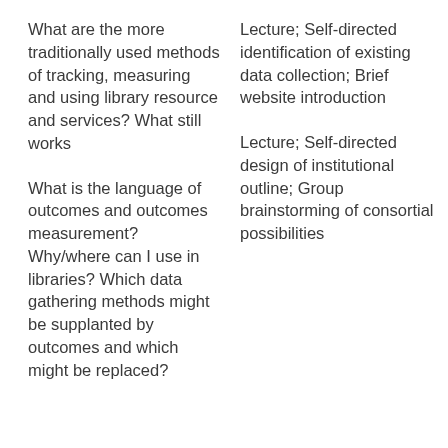What are the more traditionally used methods of tracking, measuring and using library resource and services? What still works
Lecture; Self-directed identification of existing data collection; Brief website introduction
What is the language of outcomes and outcomes measurement? Why/where can I use in libraries? Which data gathering methods might be supplanted by outcomes and which might be replaced?
Lecture; Self-directed design of institutional outline; Group brainstorming of consortial possibilities